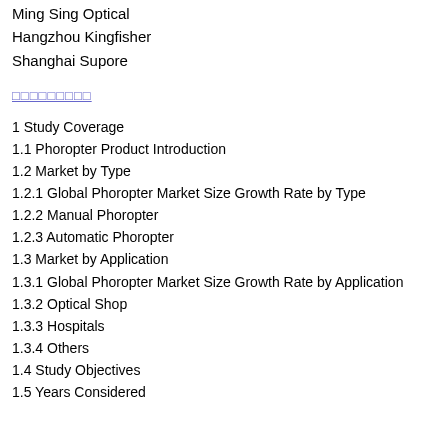Ming Sing Optical
Hangzhou Kingfisher
Shanghai Supore
□□□□□□□□□
1 Study Coverage
1.1 Phoropter Product Introduction
1.2 Market by Type
1.2.1 Global Phoropter Market Size Growth Rate by Type
1.2.2 Manual Phoropter
1.2.3 Automatic Phoropter
1.3 Market by Application
1.3.1 Global Phoropter Market Size Growth Rate by Application
1.3.2 Optical Shop
1.3.3 Hospitals
1.3.4 Others
1.4 Study Objectives
1.5 Years Considered